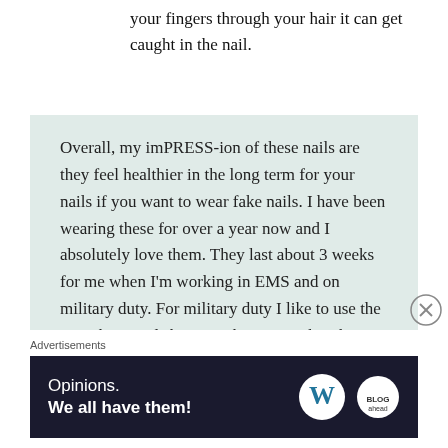your fingers through your hair it can get caught in the nail.
Overall, my imPRESS-ion of these nails are they feel healthier in the long term for your nails if you want to wear fake nails. I have been wearing these for over a year now and I absolutely love them. They last about 3 weeks for me when I'm working in EMS and on military duty. For military duty I like to use the French tip nails because they are within the regulations for nails. When I want to feel festive I try to find the Halloween styles or the
Advertisements
[Figure (screenshot): Advertisement banner with dark navy background showing text 'Opinions. We all have them!' with WordPress and Blog logos on the right side.]